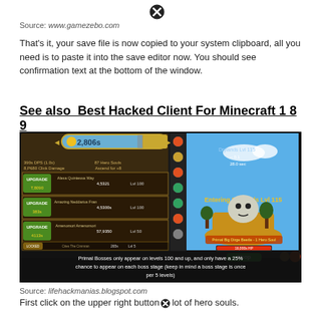[Figure (other): Close/X button icon at top center]
Source: www.gamezebo.com
That's it, your save file is now copied to your system clipboard, all you need is to paste it into the save editor now. You should see confirmation text at the bottom of the window.
See also  Best Hacked Client For Minecraft 1 8 9
[Figure (screenshot): Screenshot of a mobile game (Clicker Heroes or similar) showing characters, gold count 2,806s, hero levels, and 'Entering Drylands Lvl 115' with a boss character. Caption text: Primal Bosses only appear on levels 100 and up, and only have a 25% chance to appear on each boss stage (keep in mind a boss stage is once per 5 levels)]
Source: lifehackmanias.blogspot.com
First click on the upper right button lot of hero souls.